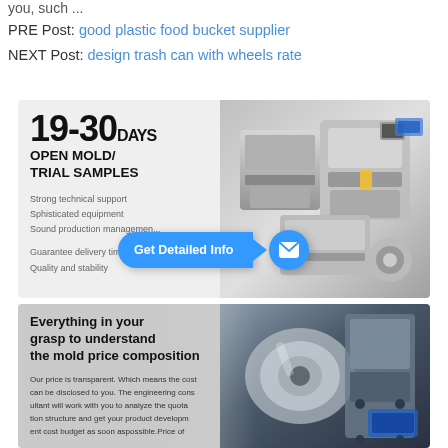you, such ...
PRE Post: good plastic food bucket supplier
NEXT Post: design trash can with wheels rate
[Figure (infographic): 19-30 DAYS OPEN MOLD / TRIAL SAMPLES banner with machinery photo and Get Detailed Info CTA button]
[Figure (infographic): Everything in your grasp to understand the mold price composition banner with industrial machinery background]